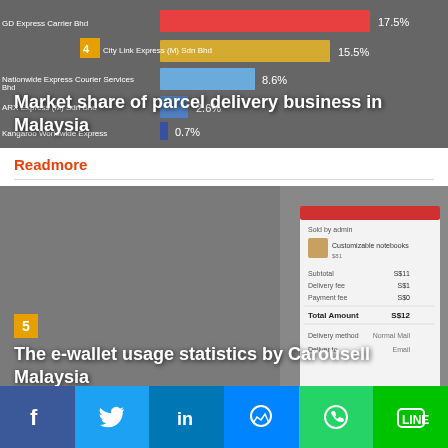[Figure (photo): Horizontal bar chart showing market share of parcel delivery business in Malaysia, with labels for City Link Express, Nationwide Express Courier Services, ARX Express, Kangaroo Worldwide Express]
Market share of parcel delivery business in Malaysia
Readmore
[Figure (photo): Hand holding a smartphone displaying a Carousell e-commerce checkout screen with product customizable notebooks, totaling S$12]
The e-wallet usage statistics by Carousell Malaysia
Readmore
[Figure (infographic): Social media sharing buttons: Facebook, Twitter, LinkedIn, Messenger, WhatsApp, LINE]